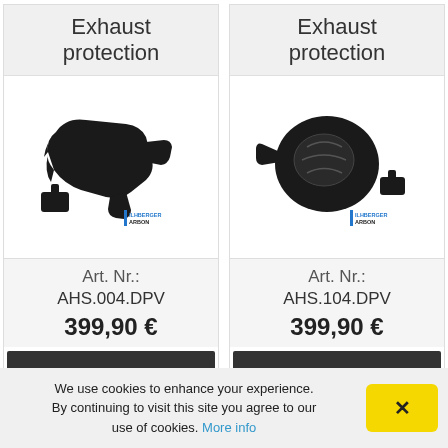Exhaust protection
[Figure (photo): Black carbon exhaust protection parts - header shield with mounting bracket, Ilmberger Carbon product]
Art. Nr.: AHS.004.DPV
399,90 €
Exhaust protection
[Figure (photo): Black carbon exhaust protection parts - round shield with mounting bracket, Ilmberger Carbon product]
Art. Nr.: AHS.104.DPV
399,90 €
We use cookies to enhance your experience. By continuing to visit this site you agree to our use of cookies. More info